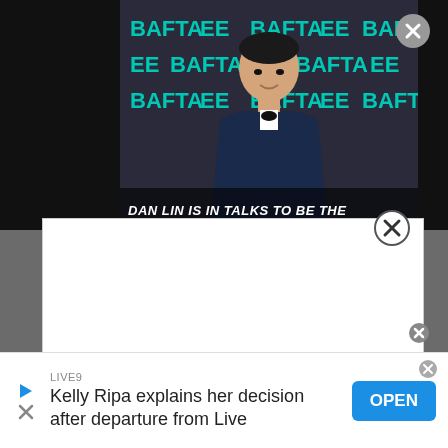[Figure (screenshot): Video thumbnail showing a man in a suit at a BAFTA event background with teal BAFTA logos. Text overlay reads 'DAN LIN IS IN TALKS TO BE THE'. A close (X) button appears in the top right.]
DAN LIN IS IN TALKS TO BE THE
[Figure (screenshot): A white modal/ad overlay box covering the middle of the screen with a close (X) button in its top right corner.]
LIVE9
Kelly Ripa explains her decision after departure from Live